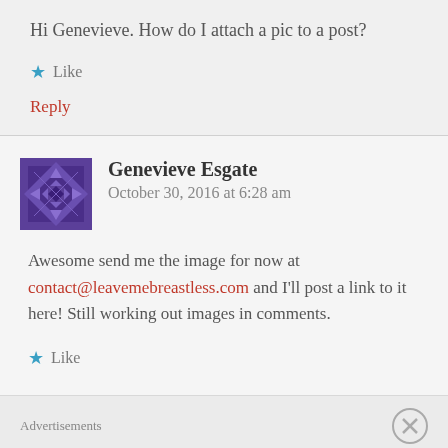Hi Genevieve. How do I attach a pic to a post?
★ Like
Reply
Genevieve Esgate   October 30, 2016 at 6:28 am
Awesome send me the image for now at contact@leavemebreastless.com and I'll post a link to it here! Still working out images in comments.
★ Like
Advertisements
REPORT THIS AD